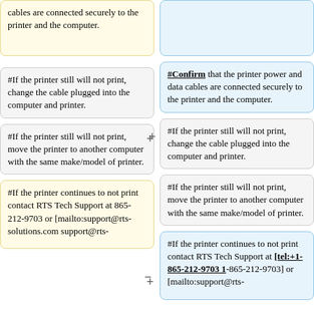cables are connected securely to the printer and the computer.
#Confirm that the printer power and data cables are connected securely to the printer and the computer.
#If the printer still will not print, change the cable plugged into the computer and printer.
#If the printer still will not print, change the cable plugged into the computer and printer.
#If the printer still will not print, move the printer to another computer with the same make/model of printer.
#If the printer still will not print, move the printer to another computer with the same make/model of printer.
#If the printer continues to not print contact RTS Tech Support at 865-212-9703 or [mailto:support@rts-solutions.com support@rts-
#If the printer continues to not print contact RTS Tech Support at [tel:+1-865-212-9703 1-865-212-9703] or [mailto:support@rts-